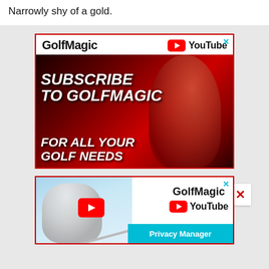Narrowly shy of a gold.
[Figure (screenshot): GolfMagic YouTube advertisement banner (first): Red-bordered ad with GolfMagic and YouTube logo header, dark red image background with person, bold italic white text 'SUBSCRIBE TO GOLFMAGIC FOR ALL YOUR GOLF NEEDS', with cyan X close button and red X dismiss button]
[Figure (screenshot): GolfMagic YouTube advertisement banner (second): Red-bordered ad with golfer image on left with YouTube play button, GolfMagic and YouTube logo on right, with cyan X close button and teal Privacy Manager bar at bottom right]